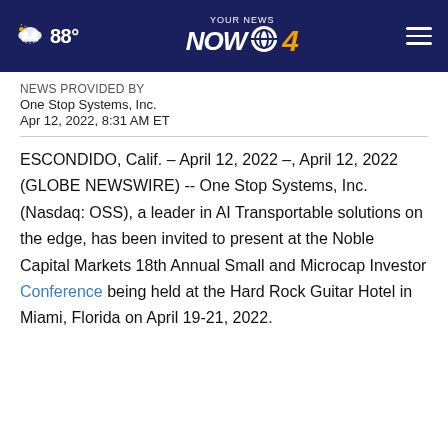YOUR NEWS NOW 4 | 88°
NEWS PROVIDED BY
One Stop Systems, Inc.
Apr 12, 2022, 8:31 AM ET
ESCONDIDO, Calif. – April 12, 2022 –, April 12, 2022 (GLOBE NEWSWIRE) -- One Stop Systems, Inc. (Nasdaq: OSS), a leader in AI Transportable solutions on the edge, has been invited to present at the Noble Capital Markets 18th Annual Small and Microcap Investor Conference being held at the Hard Rock Guitar Hotel in Miami, Florida on April 19-21, 2022.